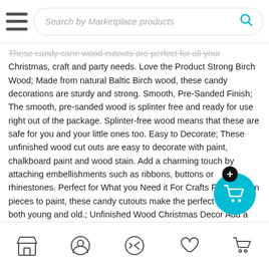Search by Marketplace products
These candy cane wood cutouts are perfect for all your Christmas, craft and party needs. Love the Product Strong Birch Wood; Made from natural Baltic Birch wood, these candy decorations are sturdy and strong. Smooth, Pre-Sanded Finish; The smooth, pre-sanded wood is splinter free and ready for use right out of the package. Splinter-free wood means that these are safe for you and your little ones too. Easy to Decorate; These unfinished wood cut outs are easy to decorate with paint, chalkboard paint and wood stain. Add a charming touch by attaching embellishments such as ribbons, buttons or rhinestones. Perfect for What you Need it For Crafts Fun wooden pieces to paint, these candy cutouts make the perfect craft for both young and old.; Unfinished Wood Christmas Decor Add a merry touch to your holiday décor with these peppy candy decorations. Perfect as wall décor, holiday ornament, door sign, or door hanger, these candy cutouts are a sweet addition to your holiday collection.; Candyland Party
Navigation icons: store, profile, shuffle, heart, cart